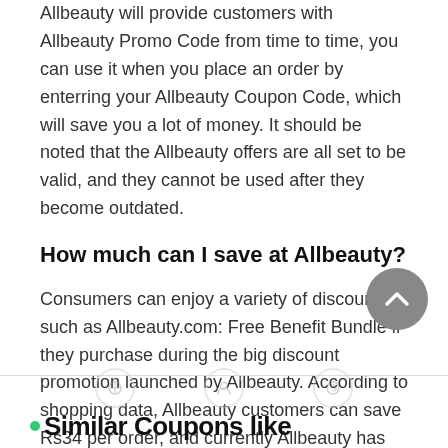Allbeauty will provide customers with Allbeauty Promo Code from time to time, you can use it when you place an order by enterring your Allbeauty Coupon Code, which will save you a lot of money. It should be noted that the Allbeauty offers are all set to be valid, and they cannot be used after they become outdated.
How much can I save at Allbeauty?
Consumers can enjoy a variety of discounts such as Allbeauty.com: Free Benefit Bundle if they purchase during the big discount promotion launched by Allbeauty. According to shopping data, Allbeauty customers can save Rs34 per order, and currently Allbeauty has 22 promotions, customers can enjoy discounts!
Similar Coupons like...